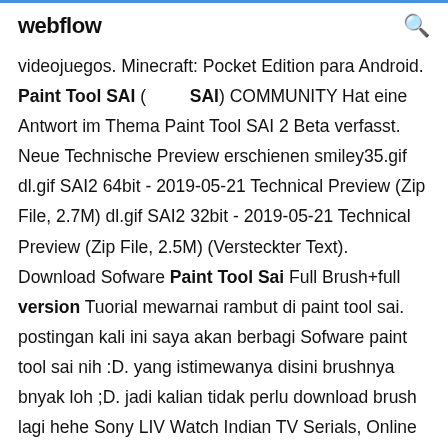webflow
videojuegos. Minecraft: Pocket Edition para Android. Paint Tool SAI ( SAI) COMMUNITY Hat eine Antwort im Thema Paint Tool SAI 2 Beta verfasst. Neue Technische Preview erschienen smiley35.gif dl.gif SAI2 64bit - 2019-05-21 Technical Preview (Zip File, 2.7M) dl.gif SAI2 32bit - 2019-05-21 Technical Preview (Zip File, 2.5M) (Versteckter Text). Download Sofware Paint Tool Sai Full Brush+full version Tuorial mewarnai rambut di paint tool sai. postingan kali ini saya akan berbagi Sofware paint tool sai nih :D. yang istimewanya disini brushnya bnyak loh ;D. jadi kalian tidak perlu download brush lagi hehe Sony LIV Watch Indian TV Serials, Online Movies, Live Sports